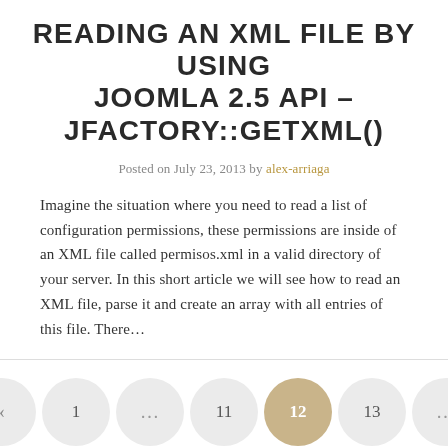READING AN XML FILE BY USING JOOMLA 2.5 API – JFACTORY::GETXML()
Posted on July 23, 2013 by alex-arriaga
Imagine the situation where you need to read a list of configuration permissions, these permissions are inside of an XML file called permisos.xml in a valid directory of your server. In this short article we will see how to read an XML file, parse it and create an array with all entries of this file. There…
‹ 1 … 11 12 13 … 15 ›